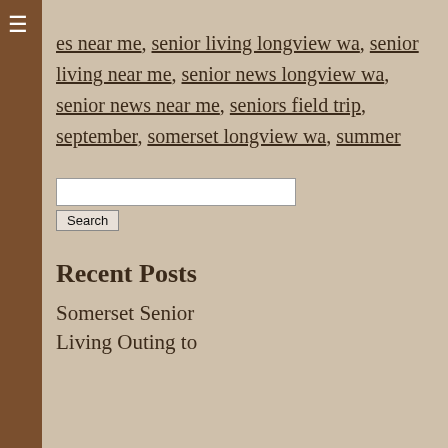es near me, senior living longview wa, senior living near me, senior news longview wa, senior news near me, seniors field trip, september, somerset longview wa, summer
[Figure (other): Search input field and Search button]
Recent Posts
Somerset Senior Living Outing to